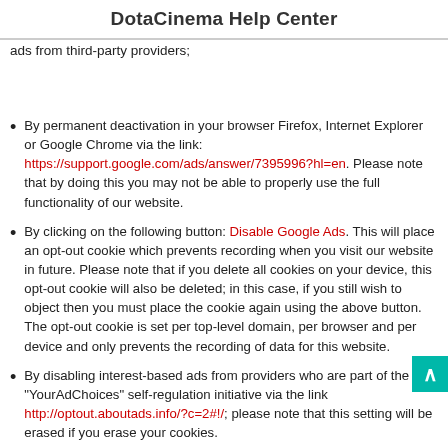DotaCinema Help Center
By setting your browser software accordingly, in particular, disabling cookies from third-party providers means that you will not receive any ads from third-party providers;
By permanent deactivation in your browser Firefox, Internet Explorer or Google Chrome via the link: https://support.google.com/ads/answer/7395996?hl=en. Please note that by doing this you may not be able to properly use the full functionality of our website.
By clicking on the following button: Disable Google Ads. This will place an opt-out cookie which prevents recording when you visit our website in future. Please note that if you delete all cookies on your device, this opt-out cookie will also be deleted; in this case, if you still wish to object then you must place the cookie again using the above button. The opt-out cookie is set per top-level domain, per browser and per device and only prevents the recording of data for this website.
By disabling interest-based ads from providers who are part of the "YourAdChoices" self-regulation initiative via the link http://optout.aboutads.info/?c=2#!/; please note that this setting will be erased if you erase your cookies.